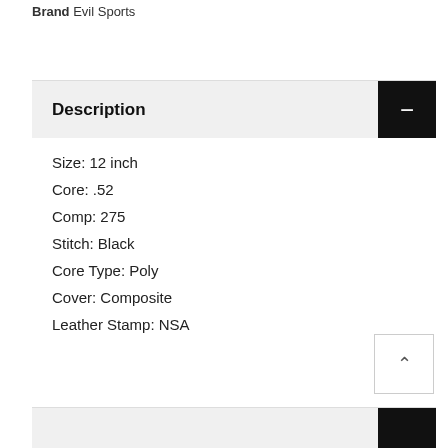Brand Evil Sports
Description
Size: 12 inch
Core: .52
Comp: 275
Stitch: Black
Core Type: Poly
Cover: Composite
Leather Stamp: NSA